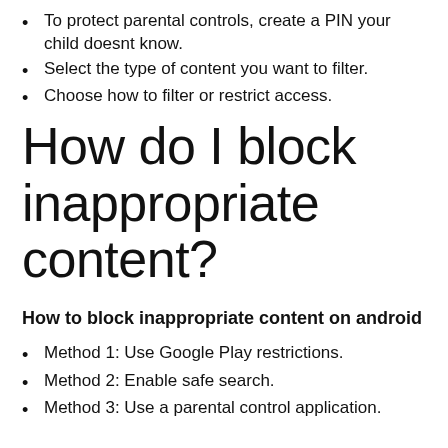To protect parental controls, create a PIN your child doesnt know.
Select the type of content you want to filter.
Choose how to filter or restrict access.
How do I block inappropriate content?
How to block inappropriate content on android
Method 1: Use Google Play restrictions.
Method 2: Enable safe search.
Method 3: Use a parental control application.